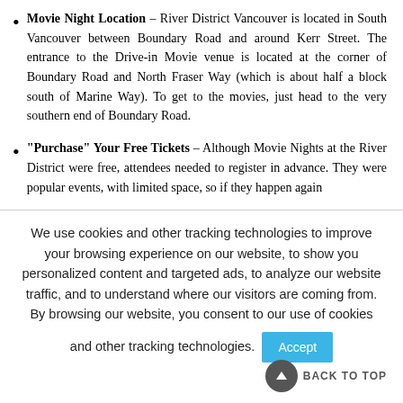Movie Night Location – River District Vancouver is located in South Vancouver between Boundary Road and around Kerr Street. The entrance to the Drive-in Movie venue is located at the corner of Boundary Road and North Fraser Way (which is about half a block south of Marine Way). To get to the movies, just head to the very southern end of Boundary Road.
"Purchase" Your Free Tickets – Although Movie Nights at the River District were free, attendees needed to register in advance. They were popular events, with limited space, so if they happen again
We use cookies and other tracking technologies to improve your browsing experience on our website, to show you personalized content and targeted ads, to analyze our website traffic, and to understand where our visitors are coming from. By browsing our website, you consent to our use of cookies and other tracking technologies.